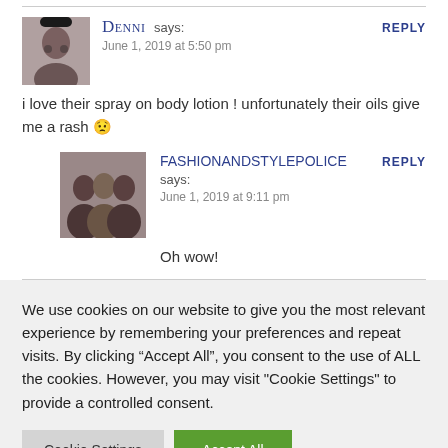DENNI says: June 1, 2019 at 5:50 pm
i love their spray on body lotion ! unfortunately their oils give me a rash 😟
FASHIONANDSTYLEPOLICE says: June 1, 2019 at 9:11 pm
Oh wow!
We use cookies on our website to give you the most relevant experience by remembering your preferences and repeat visits. By clicking "Accept All", you consent to the use of ALL the cookies. However, you may visit "Cookie Settings" to provide a controlled consent.